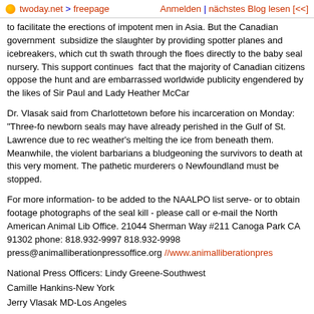twoday.net > freepage   Anmelden | nächstes Blog lesen [<<]
to facilitate the erections of impotent men in Asia. But the Canadian government subsidize the slaughter by providing spotter planes and icebreakers, which cut th swath through the floes directly to the baby seal nursery. This support continues fact that the majority of Canadian citizens oppose the hunt and are embarrassed worldwide publicity engendered by the likes of Sir Paul and Lady Heather McCar
Dr. Vlasak said from Charlottetown before his incarceration on Monday: "Three-fo newborn seals may have already perished in the Gulf of St. Lawrence due to rec weather's melting the ice from beneath them. Meanwhile, the violent barbarians a bludgeoning the survivors to death at this very moment. The pathetic murderers o Newfoundland must be stopped.
For more information- to be added to the NAALPO list serve- or to obtain footage photographs of the seal kill - please call or e-mail the North American Animal Lib Office. 21044 Sherman Way #211 Canoga Park CA 91302 phone: 818.932-9997 818.932-9998 press@animalliberationpressoffice.org //www.animalliberationpres
National Press Officers: Lindy Greene-Southwest
Camille Hankins-New York
Jerry Vlasak MD-Los Angeles
What you can do:
CALL THE JUDGE: The (Provincial Court) Judge Nancy Or ie at Phone: 902-36